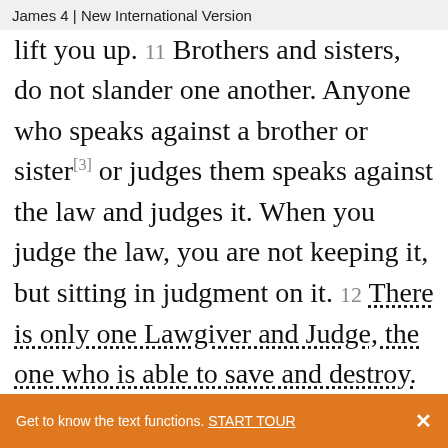James 4 | New International Version
lift you up. 11 Brothers and sisters, do not slander one another. Anyone who speaks against a brother or sister[3] or judges them speaks against the law and judges it. When you judge the law, you are not keeping it, but sitting in judgment on it. 12 There is only one Lawgiver and Judge, the one who is able to save and destroy. But you – who are you to judge your neighbour?
Get to know the text functions. START TOUR  ×